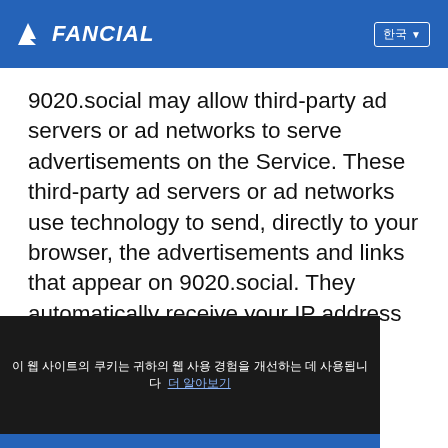FANCIAL
9020.social may allow third-party ad servers or ad networks to serve advertisements on the Service. These third-party ad servers or ad networks use technology to send, directly to your browser, the advertisements and links that appear on 9020.social. They automatically receive your IP address when other avaScript, or ffectiveness personalize the advertising content. 9020.social does not